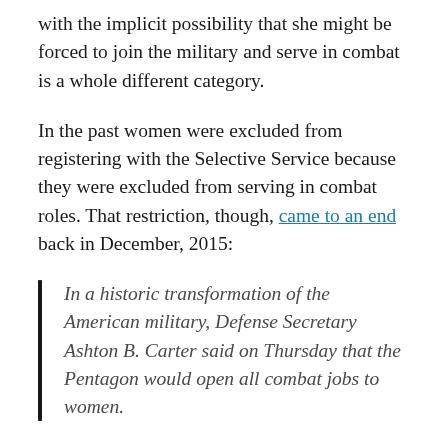with the implicit possibility that she might be forced to join the military and serve in combat is a whole different category.
In the past women were excluded from registering with the Selective Service because they were excluded from serving in combat roles. That restriction, though, came to an end back in December, 2015:
In a historic transformation of the American military, Defense Secretary Ashton B. Carter said on Thursday that the Pentagon would open all combat jobs to women.